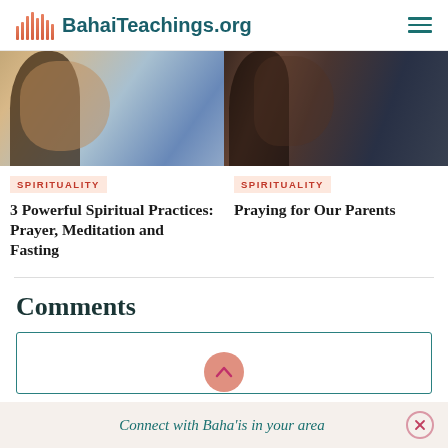BahaiTeachings.org
[Figure (photo): Woman in profile view with light background, left card image]
SPIRITUALITY
3 Powerful Spiritual Practices: Prayer, Meditation and Fasting
[Figure (photo): Two people close together, right card image]
SPIRITUALITY
Praying for Our Parents
Comments
Connect with Baha'is in your area